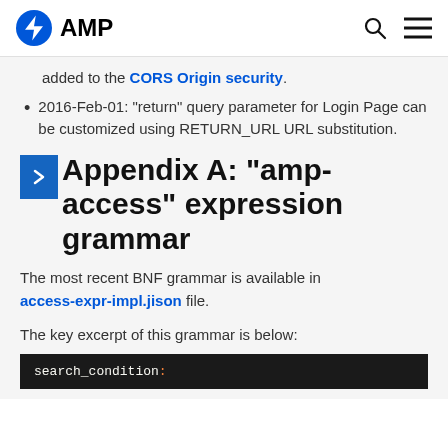AMP
added to the CORS Origin security.
2016-Feb-01: "return" query parameter for Login Page can be customized using RETURN_URL URL substitution.
Appendix A: "amp-access" expression grammar
The most recent BNF grammar is available in access-expr-impl.jison file.
The key excerpt of this grammar is below:
search_condition: